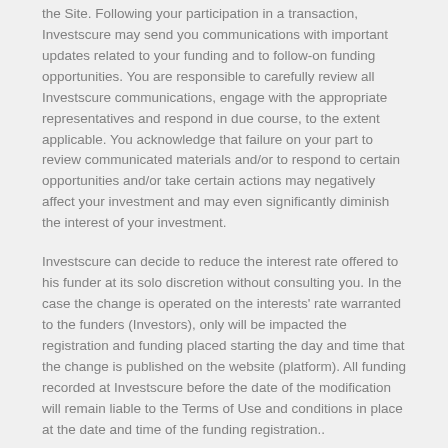the Site. Following your participation in a transaction, Investscure may send you communications with important updates related to your funding and to follow-on funding opportunities. You are responsible to carefully review all Investscure communications, engage with the appropriate representatives and respond in due course, to the extent applicable. You acknowledge that failure on your part to review communicated materials and/or to respond to certain opportunities and/or take certain actions may negatively affect your investment and may even significantly diminish the interest of your investment.
Investscure can decide to reduce the interest rate offered to his funder at its solo discretion without consulting you. In the case the change is operated on the interests' rate warranted to the funders (Investors), only will be impacted the registration and funding placed starting the day and time that the change is published on the website (platform). All funding recorded at Investscure before the date of the modification will remain liable to the Terms of Use and conditions in place at the date and time of the funding registration..
An account can be opened at Investscure without funding; the rate applicable to each account is the rate in force the day and time that your funding get into Investscure business account, usually